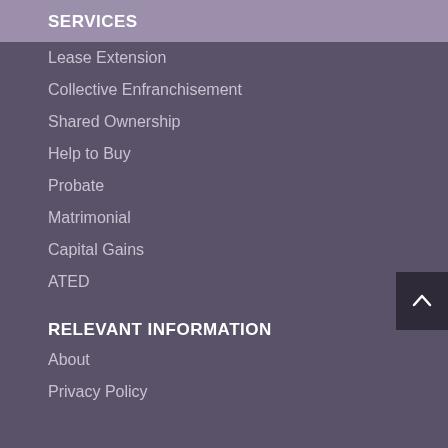SERVICES
Lease Extension
Collective Enfranchisement
Shared Ownership
Help to Buy
Probate
Matrimonial
Capital Gains
ATED
RELEVANT INFORMATION
About
Privacy Policy